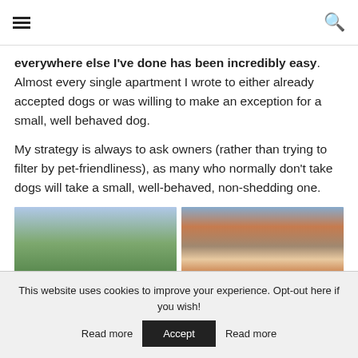≡  🔍
everywhere else I've done has been incredibly easy. Almost every single apartment I wrote to either already accepted dogs or was willing to make an exception for a small, well behaved dog.
My strategy is always to ask owners (rather than trying to filter by pet-friendliness), as many who normally don't take dogs will take a small, well-behaved, non-shedding one.
[Figure (photo): Two outdoor photos side by side: left shows a green hillside landscape with trees and cloudy sky; right shows a woman holding a small dog with a town and hillside in the background.]
This website uses cookies to improve your experience. Opt-out here if you wish!  Accept  Read more